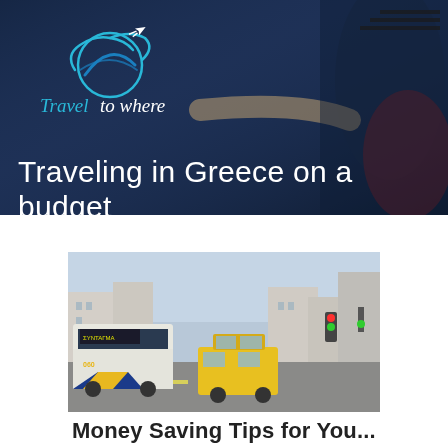[Figure (photo): Hero banner with dark blue overlay showing a person with outstretched arm, Travel to where logo in top left]
Traveling in Greece on a budget
[Figure (photo): Street scene in Greece showing a city bus and yellow taxi on a busy urban street]
Money Saving Tips for You...